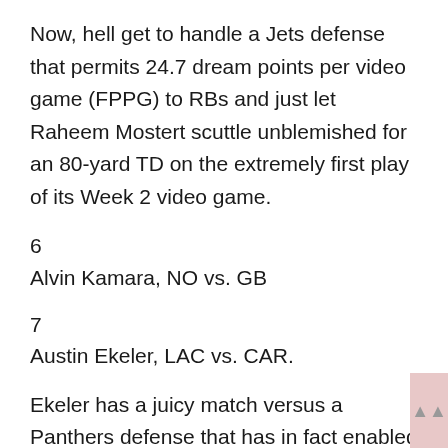Now, hell get to handle a Jets defense that permits 24.7 dream points per video game (FPPG) to RBs and just let Raheem Mostert scuttle unblemished for an 80-yard TD on the extremely first play of its Week 2 video game.
6
Alvin Kamara, NO vs. GB
7
Austin Ekeler, LAC vs. CAR.
Ekeler has a juicy match versus a Panthers defense that has in fact enabled three rushing TDs to RBs in each of their very first two computer game of the season after permitting a league-high 27 rushing TDs to the position in